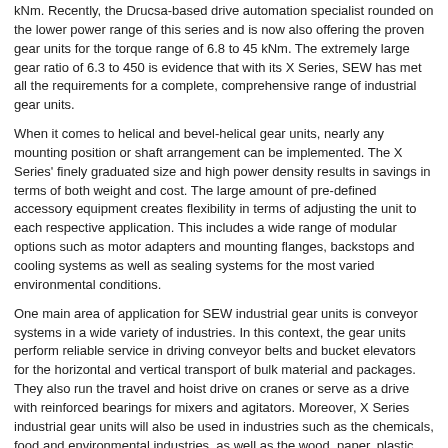kNm. Recently, the Drucsa-based drive automation specialist rounded on the lower power range of this series and is now also offering the proven gear units for the torque range of 6.8 to 45 kNm. The extremely large gear ratio of 6.3 to 450 is evidence that with its X Series, SEW has met all the requirements for a complete, comprehensive range of industrial gear units.
When it comes to helical and bevel-helical gear units, nearly any mounting position or shaft arrangement can be implemented. The X Series' finely graduated size and high power density results in savings in terms of both weight and cost. The large amount of pre-defined accessory equipment creates flexibility in terms of adjusting the unit to each respective application. This includes a wide range of modular options such as motor adapters and mounting flanges, backstops and cooling systems as well as sealing systems for the most varied environmental conditions.
One main area of application for SEW industrial gear units is conveyor systems in a wide variety of industries. In this context, the gear units perform reliable service in driving conveyor belts and bucket elevators for the horizontal and vertical transport of bulk material and packages. They also run the travel and hoist drive on cranes or serve as a drive with reinforced bearings for mixers and agitators. Moreover, X Series industrial gear units will also be used in industries such as the chemicals, food and environmental industries, as well as the wood, paper, plastic and steel industries.
For further information please visit: www.sew-eurodrive.co.uk
Related articles:
Leading the way forward
Multi purpose Speedors
Energy efficiency at the top of the agenda
A 1-2 Punch for compact cooling
RXU series of PID controllers